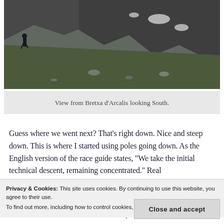[Figure (photo): Mountain landscape photo showing a hiker standing on rocky terrain with green slopes, rocky cliffs, and patches of snow in the background. View from Bretxa d'Arcalis looking South.]
View from Bretxa d'Arcalis looking South.
Guess where we went next? That’s right down. Nice and steep down. This is where I started using poles going down. As the English version of the race guide states, “We take the initial technical descent, remaining concentrated.” Real
Privacy & Cookies: This site uses cookies. By continuing to use this website, you agree to their use.
To find out more, including how to control cookies, see here: Cookie Policy
climb called Pic del Clot del Cavall (Pic just means